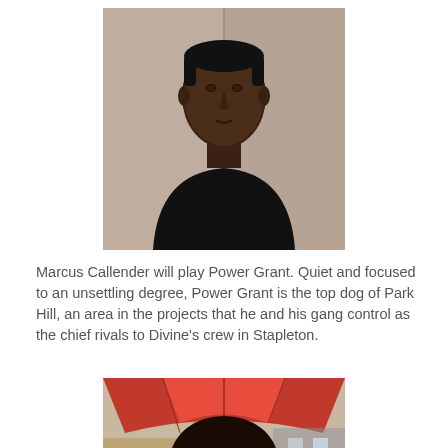[Figure (photo): Headshot of Marcus Callender, a young Black man in a black t-shirt, against a grey/beige background, looking slightly off-camera.]
Marcus Callender will play Power Grant. Quiet and focused to an unsettling degree, Power Grant is the top dog of Park Hill, an area in the projects that he and his gang control as the chief rivals to Divine's crew in Stapleton.
[Figure (photo): Photo of a young Black woman with a natural afro hairstyle, under a red umbrella, with a blurred urban background.]